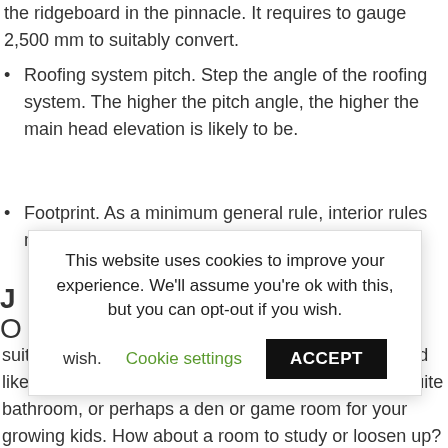the ridgeboard in the pinnacle. It requires to gauge 2,500 mm to suitably convert.
Roofing system pitch. Step the angle of the roofing system. The higher the pitch angle, the higher the main head elevation is likely to be.
Footprint. As a minimum general rule, interior rules must
[Figure (screenshot): Cookie consent banner overlay with text: 'This website uses cookies to improve your experience. We'll assume you're ok with this, but you can opt-out if you wish.' with 'Cookie settings' link and 'ACCEPT' button.]
suitable for a loft conversion, consider how you would like to use it; probably an added bed room with en-suite bathroom, or perhaps a den or game room for your growing kids. How about a room to study or loosen up?
Or it could be a multi- function room with a mix of uses, such as extra living space which functions as visitor holiday